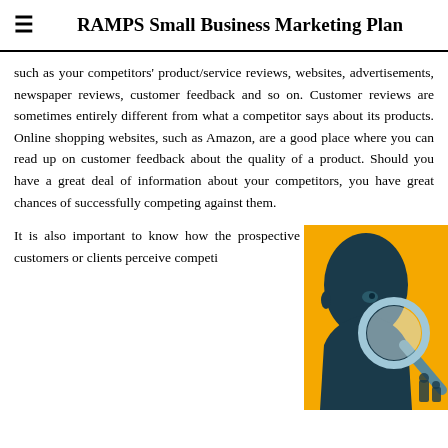RAMPS Small Business Marketing Plan
such as your competitors' product/service reviews, websites, advertisements, newspaper reviews, customer feedback and so on. Customer reviews are sometimes entirely different from what a competitor says about its products. Online shopping websites, such as Amazon, are a good place where you can read up on customer feedback about the quality of a product. Should you have a great deal of information about your competitors, you have great chances of successfully competing against them.
It is also important to know how the prospective customers or clients perceive competi...
[Figure (illustration): Illustration of a dark blue silhouetted person looking through a magnifying glass against an orange/yellow background with chess pieces visible, representing competitive analysis or research.]